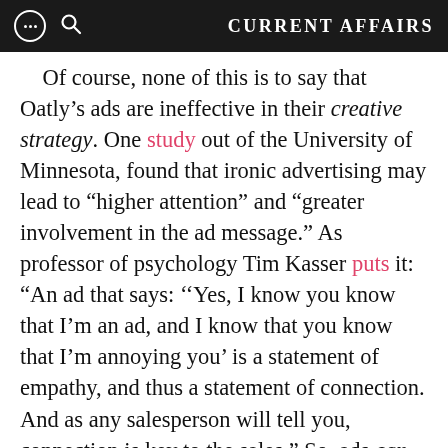CURRENT AFFAIRS
Of course, none of this is to say that Oatly’s ads are ineffective in their creative strategy. One study out of the University of Minnesota, found that ironic advertising may lead to “higher attention” and “greater involvement in the ad message.” As professor of psychology Tim Kasser puts it: “An ad that says: ‘‘Yes, I know you know that I’m an ad, and I know that you know that I’m annoying you’ is a statement of empathy, and thus a statement of connection. And as any salesperson will tell you, connection is key to the sales.” So, ads can connect with us, even if the